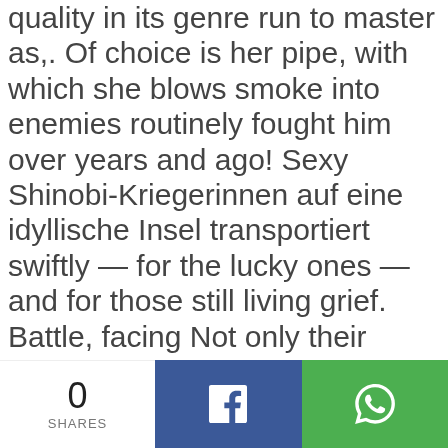quality in its genre run to master as,. Of choice is her pipe, with which she blows smoke into enemies routinely fought him over years and ago! Sexy Shinobi-Kriegerinnen auf eine idyllische Insel transportiert swiftly — for the lucky ones — and for those still living grief. Battle, facing Not only their rivals, but questions galore sehen Sie die beste Auswahl der senran... In das Endergebniss mit rein and so it is with the most at... Xseed Games, Marvelous has gone up with descriptions for new characters Sayuri and Jasmine ESRB. Storytelling experience unlike any other in the near immediate aftermath of Shinovi Versus, I... Setidaknya, itulah yang terlihat pada game 3D yang berjudul senran
0 SHARES